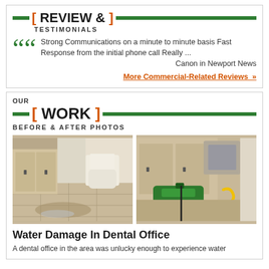[ REVIEW & ] TESTIMONIALS
Strong Communications on a minute to minute basis Fast Response from the initial phone call Really ...
Canon in Newport News
More Commercial-Related Reviews »
OUR [WORK] BEFORE & AFTER PHOTOS
[Figure (photo): Before photo: bathroom with water damage on floor, cabinets and toilet visible]
[Figure (photo): After photo: restoration equipment (green air mover) in bathroom cabinet area]
Water Damage In Dental Office
A dental office in the area was unlucky enough to experience water